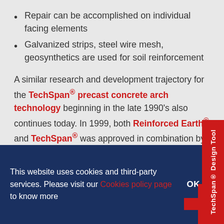Repair can be accomplished on individual facing elements
Galvanized strips, steel wire mesh, geosynthetics are used for soil reinforcement
A similar research and development trajectory for the TechSpan® precast concrete arch technology beginning in the late 1990's also continues today. In 1999, both Reinforced Earth® and TechSpan® was approved in combination by the US Department of Defense Explosives Safety Board (DDESB) for construction of blast barriers or
This website uses cookies and third-party services. Please visit our Cookies policy page to know more